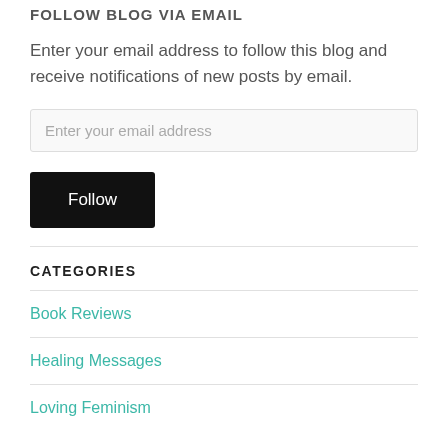FOLLOW BLOG VIA EMAIL
Enter your email address to follow this blog and receive notifications of new posts by email.
CATEGORIES
Book Reviews
Healing Messages
Loving Feminism